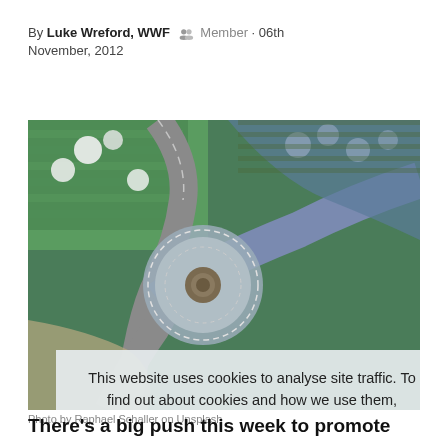By Luke Wreford, WWF  Member · 06th November, 2012
[Figure (photo): Aerial view of a roundabout surrounded by fields and white-blossomed trees, with a fountain in the center. Cookie consent overlay visible on the lower portion.]
Photo by Raphael Schaller on Unsplash
There's a big push this week to promote